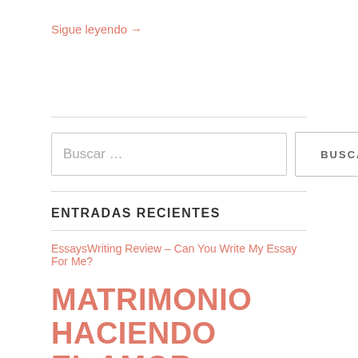Sigue leyendo →
ENTRADAS RECIENTES
EssaysWriting Review – Can You Write My Essay For Me?
MATRIMONIO HACIENDO EL AMOR